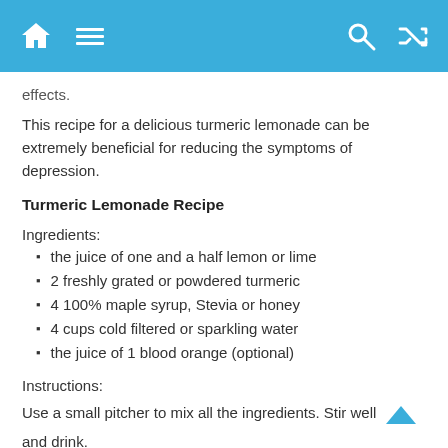Navigation bar with home, menu, search, and shuffle icons
effects.
This recipe for a delicious turmeric lemonade can be extremely beneficial for reducing the symptoms of depression.
Turmeric Lemonade Recipe
Ingredients:
the juice of one and a half lemon or lime
2 freshly grated or powdered turmeric
4 100% maple syrup, Stevia or honey
4 cups cold filtered or sparkling water
the juice of 1 blood orange (optional)
Instructions:
Use a small pitcher to mix all the ingredients. Stir well and drink.